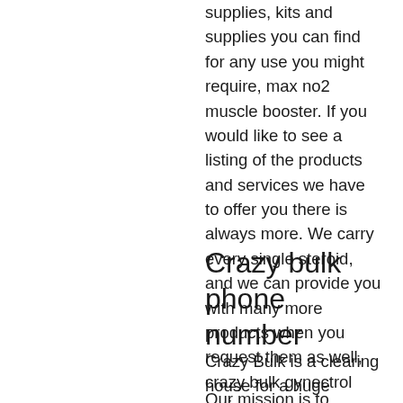supplies, kits and supplies you can find for any use you might require, max no2 muscle booster. If you would like to see a listing of the products and services we have to offer you there is always more. We carry every single steroid, and we can provide you with many more products when you request them as well, crazy bulk gynectrol reviews.
Crazy bulk phone number
Crazy Bulk is a clearing house for a huge number of completely legal bodybuilding supplements, many of which are oral anabolic steroid alternatives.
Our mission is to educate and educate